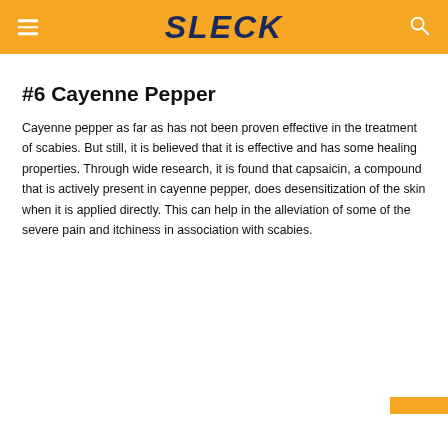SLECK
#6 Cayenne Pepper
Cayenne pepper as far as has not been proven effective in the treatment of scabies. But still, it is believed that it is effective and has some healing properties. Through wide research, it is found that capsaicin, a compound that is actively present in cayenne pepper, does desensitization of the skin when it is applied directly. This can help in the alleviation of some of the severe pain and itchiness in association with scabies.